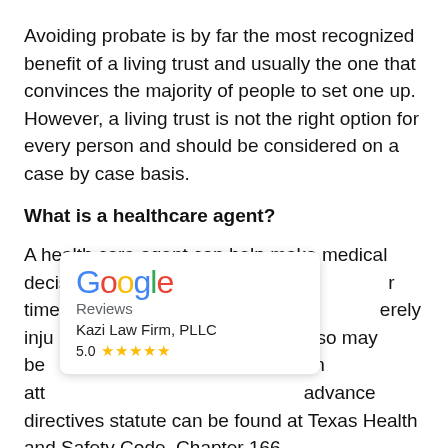Avoiding probate is by far the most recognized benefit of a living trust and usually the one that convinces the majority of people to set one up. However, a living trust is not the right option for every person and should be considered on a case by case basis.
What is a healthcare agent?
A health care agent can help make medical decisions on [your behalf at] r time you ca[n no longer make decisions for yourself, wh]erely inju[red or ill. A healthcare agent] lso may be [named in a document known as] an att[orney. The Texas law governing] advance directives statute can be found at Texas Health and Safety Code, Chapter 166.
[Figure (other): Google Reviews widget overlay showing 'Google Reviews', 'Kazi Law Firm, PLLC', rating 5.0 with five gold stars]